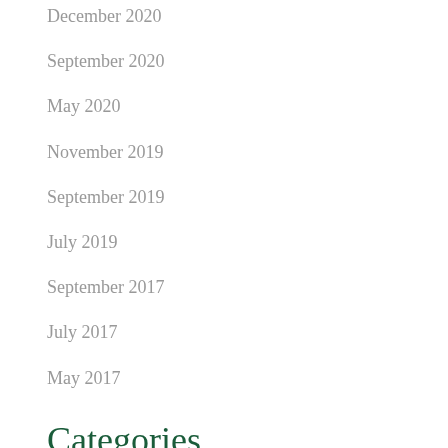December 2020
September 2020
May 2020
November 2019
September 2019
July 2019
September 2017
July 2017
May 2017
Categories
All
Awards
Forestry & Hedging
General